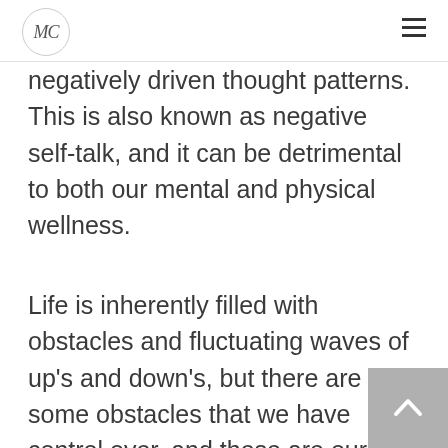MC [logo]
negatively driven thought patterns. This is also known as negative self-talk, and it can be detrimental to both our mental and physical wellness.
Life is inherently filled with obstacles and fluctuating waves of up's and down's, but there are some obstacles that we have control over, and these are our